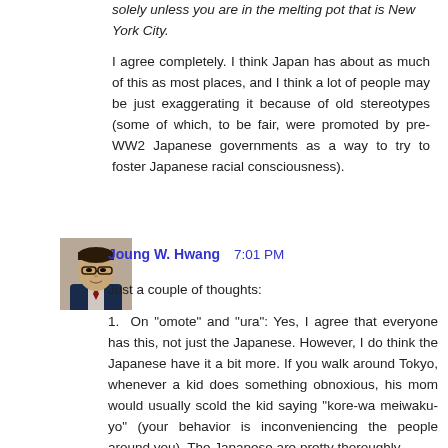solely unless you are in the melting pot that is New York City.
I agree completely. I think Japan has about as much of this as most places, and I think a lot of people may be just exaggerating it because of old stereotypes (some of which, to be fair, were promoted by pre-WW2 Japanese governments as a way to try to foster Japanese racial consciousness).
[Figure (photo): Avatar photo of commenter Joung W. Hwang, a man in professional attire]
Joung W. Hwang 7:01 PM
Just a couple of thoughts:
1.  On "omote" and "ura": Yes, I agree that everyone has this, not just the Japanese. However, I do think the Japanese have it a bit more. If you walk around Tokyo, whenever a kid does something obnoxious, his mom would usually scold the kid saying "kore-wa meiwaku-yo" (your behavior is inconveniencing the people around you). The Japanese are pretty thoroughly